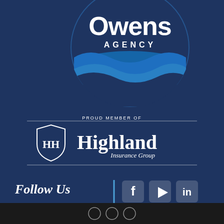[Figure (logo): Owens Agency logo — large white text 'Owens AGENCY' above stylized blue wave graphic on dark navy background]
[Figure (logo): Highland Insurance Group logo with shield icon containing HH monogram, text 'PROUD MEMBER OF' above, 'Highland Insurance Group' beside shield, framed by horizontal lines]
Follow Us
[Figure (infographic): Social media icons: Facebook, YouTube, LinkedIn in rounded square boxes with cyan vertical divider]
Footer bar with circular logo marks